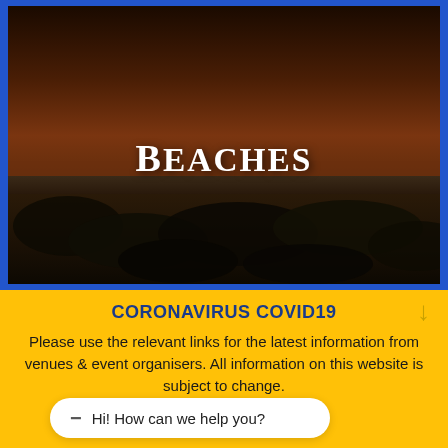[Figure (photo): A dark twilight beach scene with dunes and ocean in the distance, with the word BEACHES displayed in large bold white serif text centered on the image. Blue borders frame the image left and right.]
CORONAVIRUS COVID19
Please use the relevant links for the latest information from venues & event organisers. All information on this website is subject to change.
Hi! How can we help you?